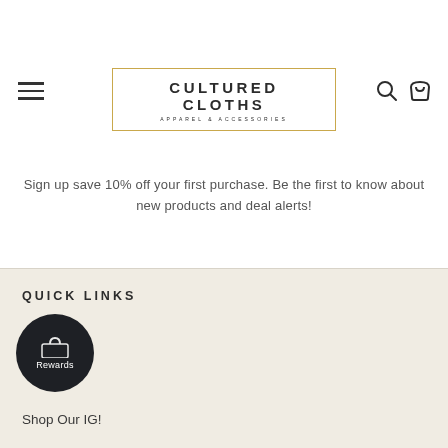[Figure (logo): Cultured Cloths logo with gold border rectangle, text CULTURED CLOTHS and subtitle APPAREL & ACCESSORIES, with hamburger menu icon and search/cart icons]
Sign up save 10% off your first purchase. Be the first to know about new products and deal alerts!
QUICK LINKS
[Figure (other): Rewards button - dark circular button with bag icon and Rewards label]
Shop Our IG!